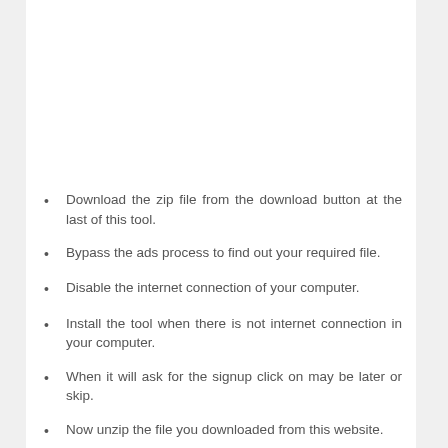Download the zip file from the download button at the last of this tool.
Bypass the ads process to find out your required file.
Disable the internet connection of your computer.
Install the tool when there is not internet connection in your computer.
When it will ask for the signup click on may be later or skip.
Now unzip the file you downloaded from this website.